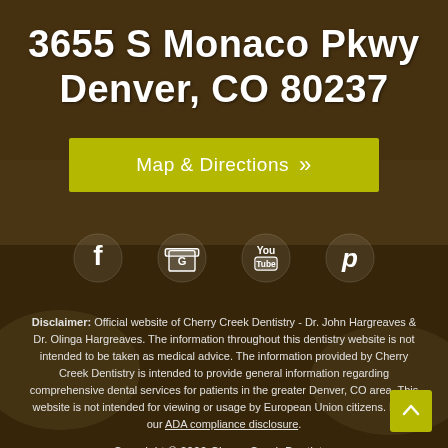3655 S Monaco Pkwy Denver, CO 80237
Map & Directions »
[Figure (illustration): Social media icons: Facebook, Google My Business, YouTube, Pinterest]
Disclaimer: Official website of Cherry Creek Dentistry - Dr. John Hargreaves & Dr. Olinga Hargreaves. The information throughout this dentistry website is not intended to be taken as medical advice. The information provided by Cherry Creek Dentistry is intended to provide general information regarding comprehensive dental services for patients in the greater Denver, CO area. This website is not intended for viewing or usage by European Union citizens. Read our ADA compliance disclosure.
Copyright © 2022 Cherry Creek Dentistry.
Terms of use | Sitemap